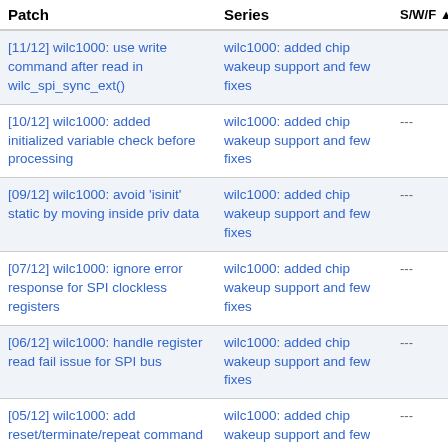| Patch | Series | S/W/F | Date |
| --- | --- | --- | --- |
| [11/12] wilc1000: use write command after read in wilc_spi_sync_ext() | wilc1000: added chip wakeup support and few fixes |  | 2021-04- |
| [10/12] wilc1000: added initialized variable check before processing | wilc1000: added chip wakeup support and few fixes | --- | 2021-04- |
| [09/12] wilc1000: avoid 'isinit' static by moving inside priv data | wilc1000: added chip wakeup support and few fixes | --- | 2021-04- |
| [07/12] wilc1000: ignore error response for SPI clockless registers | wilc1000: added chip wakeup support and few fixes | --- | 2021-04- |
| [06/12] wilc1000: handle register read fail issue for SPI bus | wilc1000: added chip wakeup support and few fixes | --- | 2021-04- |
| [05/12] wilc1000: add reset/terminate/repeat command support for SPI bus | wilc1000: added chip wakeup support and few fixes | --- | 2021-04- |
| [04/12] wilc1000: setup registers to support chip | wilc1000: added chip wakeup support and |  | 2021-04- |